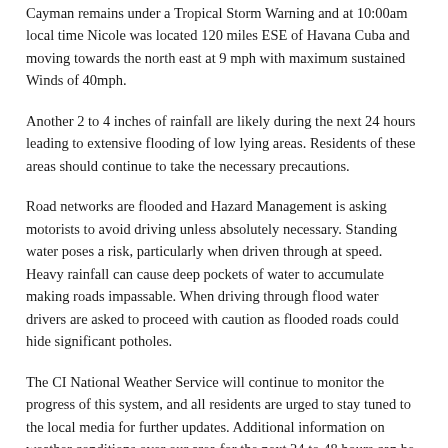Cayman remains under a Tropical Storm Warning and at 10:00am local time Nicole was located 120 miles ESE of Havana Cuba and moving towards the north east at 9 mph with maximum sustained Winds of 40mph.
Another 2 to 4 inches of rainfall are likely during the next 24 hours leading to extensive flooding of low lying areas. Residents of these areas should continue to take the necessary precautions.
Road networks are flooded and Hazard Management is asking motorists to avoid driving unless absolutely necessary. Standing water poses a risk, particularly when driven through at speed. Heavy rainfall can cause deep pockets of water to accumulate making roads impassable. When driving through flood water drivers are asked to proceed with caution as flooded roads could hide significant potholes.
The CI National Weather Service will continue to monitor the progress of this system, and all residents are urged to stay tuned to the local media for further updates. Additional information on weather conditions over our area for the next 24 to 48 hours can be found in the local weather forecast. www.weather.ky or www.caymanprepared.ky
All public service announcements about Tropical Depression #16 will be posted on CNS Storm Watch, which has a quick link on the main menu bar in Classifieds to the latest updates about hurricanes and storms under the sub-categories 'Be Prepared', 'Business Update', 'Official News' and 'Personal Notes'. The link to the Cayman Islands Weather site is also on